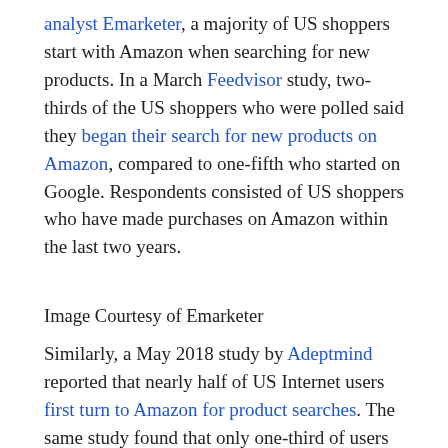analyst Emarketer, a majority of US shoppers start with Amazon when searching for new products. In a March Feedvisor study, two-thirds of the US shoppers who were polled said they began their search for new products on Amazon, compared to one-fifth who started on Google. Respondents consisted of US shoppers who have made purchases on Amazon within the last two years.
Image Courtesy of Emarketer
Similarly, a May 2018 study by Adeptmind reported that nearly half of US Internet users first turn to Amazon for product searches. The same study found that only one-third of users start product searches with Google. Such findings go as far back as